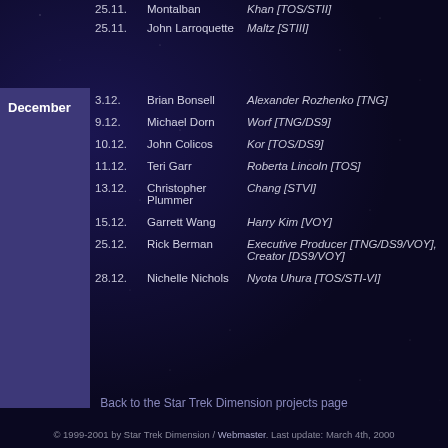| Date | Name | Role |
| --- | --- | --- |
| 25.11. | Montalban | Khan [TOS/STII] |
| 25.11. | John Larroquette | Maltz [STIII] |
| Date | Name | Role |
| --- | --- | --- |
| 3.12. | Brian Bonsell | Alexander Rozhenko [TNG] |
| 9.12. | Michael Dorn | Worf [TNG/DS9] |
| 10.12. | John Colicos | Kor [TOS/DS9] |
| 11.12. | Teri Garr | Roberta Lincoln [TOS] |
| 13.12. | Christopher Plummer | Chang [STVI] |
| 15.12. | Garrett Wang | Harry Kim [VOY] |
| 25.12. | Rick Berman | Executive Producer [TNG/DS9/VOY], Creator [DS9/VOY] |
| 28.12. | Nichelle Nichols | Nyota Uhura [TOS/STI-VI] |
Back to the Star Trek Dimension projects page
© 1999-2001 by Star Trek Dimension / Webmaster. Last update: March 4th, 2000